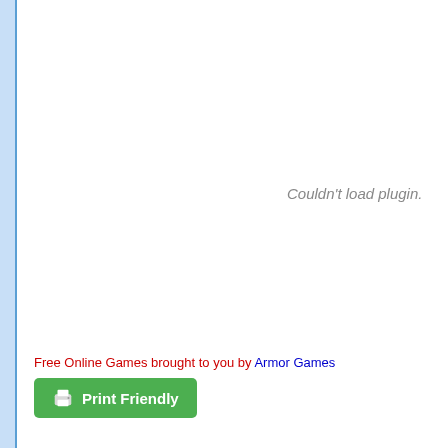Couldn't load plugin.
Free Online Games brought to you by Armor Games
[Figure (other): Print Friendly button with printer icon]